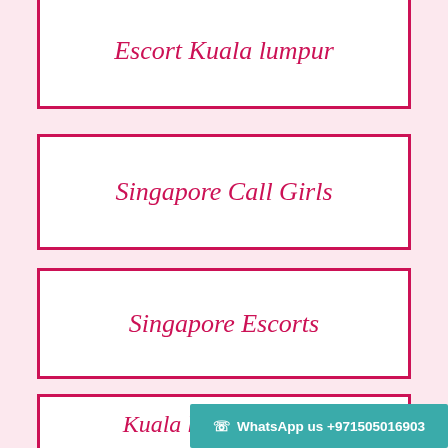Escort Kuala lumpur
Singapore Call Girls
Singapore Escorts
Kuala lumpur Escort
WhatsApp us +971505016903